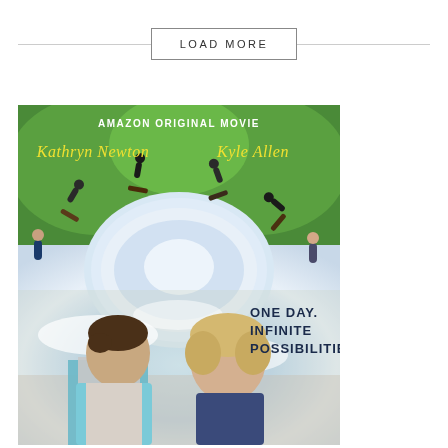LOAD MORE
[Figure (photo): Movie poster for an Amazon Original Movie featuring Kathryn Newton and Kyle Allen. The poster shows a circular fish-eye view with people skateboarding and playing around a circular plaza at the top, and the two lead actors smiling at each other at the bottom. Text reads: AMAZON ORIGINAL MOVIE, Kathryn Newton, Kyle Allen, ONE DAY. INFINITE POSSIBILITIES.]